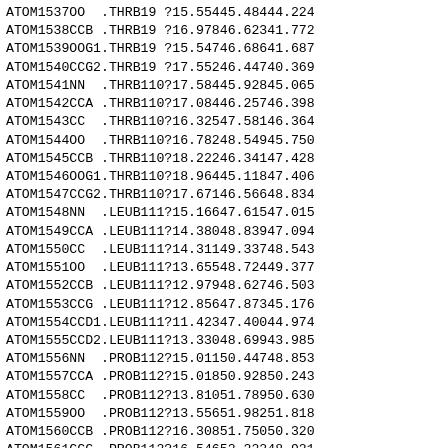| type | serial | el | name | alt | res | chain | model | seq | ins | x | y | z |
| --- | --- | --- | --- | --- | --- | --- | --- | --- | --- | --- | --- | --- |
| ATOM | 1537 | O | O | . | THR | B | 1 | 9 | ? | 15.554 | 45.484 | 44.224 |
| ATOM | 1538 | C | CB | . | THR | B | 1 | 9 | ? | 16.978 | 46.623 | 41.772 |
| ATOM | 1539 | O | OG1 | . | THR | B | 1 | 9 | ? | 15.547 | 46.686 | 41.687 |
| ATOM | 1540 | C | CG2 | . | THR | B | 1 | 9 | ? | 17.552 | 46.447 | 40.369 |
| ATOM | 1541 | N | N | . | THR | B | 1 | 10 | ? | 17.584 | 45.928 | 45.065 |
| ATOM | 1542 | C | CA | . | THR | B | 1 | 10 | ? | 17.084 | 46.257 | 46.398 |
| ATOM | 1543 | C | C | . | THR | B | 1 | 10 | ? | 16.325 | 47.581 | 46.364 |
| ATOM | 1544 | O | O | . | THR | B | 1 | 10 | ? | 16.782 | 48.549 | 45.750 |
| ATOM | 1545 | C | CB | . | THR | B | 1 | 10 | ? | 18.222 | 46.341 | 47.428 |
| ATOM | 1546 | O | OG1 | . | THR | B | 1 | 10 | ? | 18.964 | 45.118 | 47.406 |
| ATOM | 1547 | C | CG2 | . | THR | B | 1 | 10 | ? | 17.671 | 46.566 | 48.834 |
| ATOM | 1548 | N | N | . | LEU | B | 1 | 11 | ? | 15.166 | 47.615 | 47.015 |
| ATOM | 1549 | C | CA | . | LEU | B | 1 | 11 | ? | 14.380 | 48.839 | 47.094 |
| ATOM | 1550 | C | C | . | LEU | B | 1 | 11 | ? | 14.311 | 49.337 | 48.543 |
| ATOM | 1551 | O | O | . | LEU | B | 1 | 11 | ? | 13.655 | 48.724 | 49.377 |
| ATOM | 1552 | C | CB | . | LEU | B | 1 | 11 | ? | 12.979 | 48.627 | 46.503 |
| ATOM | 1553 | C | CG | . | LEU | B | 1 | 11 | ? | 12.856 | 47.873 | 45.176 |
| ATOM | 1554 | C | CD1 | . | LEU | B | 1 | 11 | ? | 11.423 | 47.400 | 44.974 |
| ATOM | 1555 | C | CD2 | . | LEU | B | 1 | 11 | ? | 13.330 | 48.699 | 43.985 |
| ATOM | 1556 | N | N | . | PRO | B | 1 | 12 | ? | 15.011 | 50.447 | 48.853 |
| ATOM | 1557 | C | CA | . | PRO | B | 1 | 12 | ? | 15.018 | 50.928 | 50.243 |
| ATOM | 1558 | C | C | . | PRO | B | 1 | 12 | ? | 13.810 | 51.789 | 50.630 |
| ATOM | 1559 | O | O | . | PRO | B | 1 | 12 | ? | 13.556 | 51.982 | 51.818 |
| ATOM | 1560 | C | CB | . | PRO | B | 1 | 12 | ? | 16.308 | 51.750 | 50.320 |
| ATOM | 1561 | C | CG | . | PRO | B | 1 | 12 | ? | 16.546 | 52.222 | 48.921 |
| ATOM | 1562 | C | CD | . | PRO | B | 1 | 12 | ? | 15.949 | 51.198 | 47.995 |
| ATOM | 1563 | N | N | . | ASP | B | 1 | 13 | ? | 13.080 | 52.296 | 49.638 |
| ATOM | 1564 | C | CA | . | ASP | B | 1 | 13 | ? | 11.996 | 53.254 | 49.875 |
| ATOM | 1565 | C | C | . | ASP | B | 1 | 13 | ? | 10.874 | 53.126 | 48.839 |
| ATOM | 1566 | O | O | . | ASP | B | 1 | 13 | ? | 11.008 | 52.394 | 47.850 |